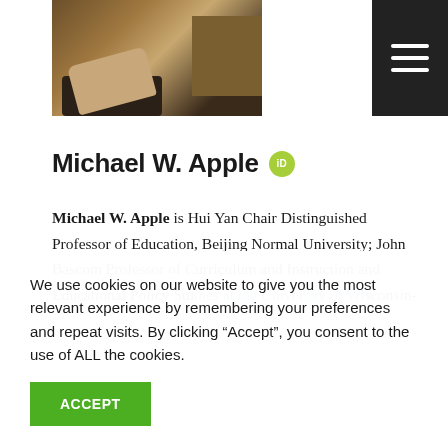[Figure (photo): Partial photo of Michael W. Apple, showing hands and jacket, cropped at top of page]
Michael W. Apple
Michael W. Apple is Hui Yan Chair Distinguished Professor of Education, Beijing Normal University; John Bascom Professor of Curriculum and Instruction and Educational Policy Studies at the University of Wisconsin-
We use cookies on our website to give you the most relevant experience by remembering your preferences and repeat visits. By clicking “Accept”, you consent to the use of ALL the cookies.